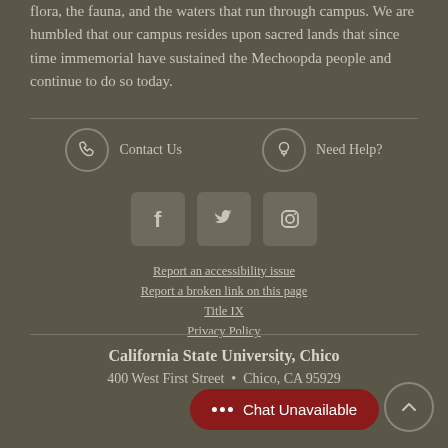flora, the fauna, and the waters that run through campus. We are humbled that our campus resides upon sacred lands that since time immemorial have sustained the Mechoopda people and continue to do so today.
[Figure (infographic): Contact Us icon (phone in circle) and Need Help? icon (lightbulb in circle), social media icons for Facebook, Twitter, Instagram. Links: Report an accessibility issue, Report a broken link on this page, Title IX, Privacy Policy.]
California State University, Chico
400 West First Street • Chico, CA 95929
Copyright ©